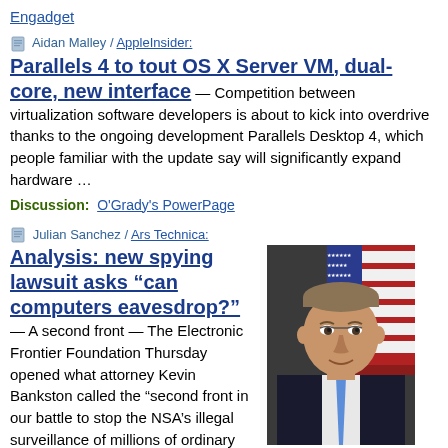Engadget
Aidan Malley / AppleInsider:
Parallels 4 to tout OS X Server VM, dual-core, new interface — Competition between virtualization software developers is about to kick into overdrive thanks to the ongoing development Parallels Desktop 4, which people familiar with the update say will significantly expand hardware …
Discussion: O'Grady's PowerPage
Julian Sanchez / Ars Technica:
[Figure (photo): Portrait photo of a man in a dark suit with an American flag in the background]
Analysis: new spying lawsuit asks “can computers eavesdrop?” — A second front — The Electronic Frontier Foundation Thursday opened what attorney Kevin Bankston called the “second front in our battle to stop the NSA’s illegal surveillance of millions of ordinary Americans,” …